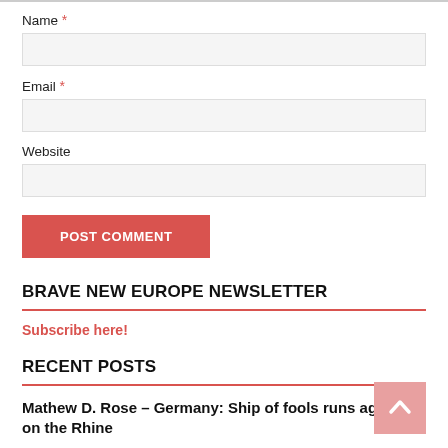Name *
Email *
Website
POST COMMENT
BRAVE NEW EUROPE NEWSLETTER
Subscribe here!
RECENT POSTS
Mathew D. Rose – Germany: Ship of fools runs aground on the Rhine